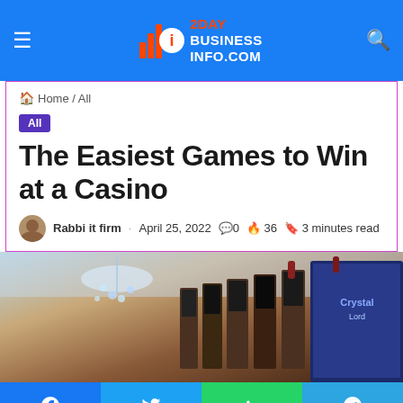2DAY BUSINESS INFO.COM
Home / All
All
The Easiest Games to Win at a Casino
Rabbi it firm · April 25, 2022 · 0 · 36 · 3 minutes read
[Figure (photo): Interior of a casino showing slot machines in a row with decorative crystal chandelier in the background]
Facebook Twitter WhatsApp Telegram social share buttons